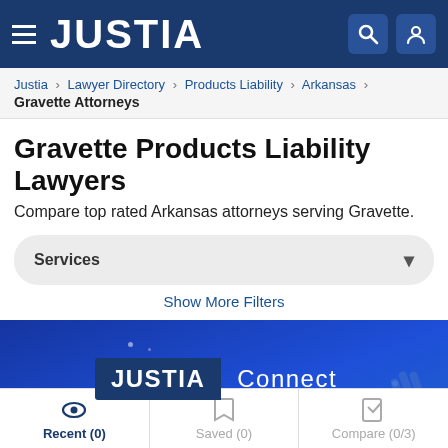JUSTIA
Justia › Lawyer Directory › Products Liability › Arkansas › Gravette Attorneys
Gravette Products Liability Lawyers
Compare top rated Arkansas attorneys serving Gravette.
Services
Show More Filters
[Figure (screenshot): Justia Connect banner ad on blue background with hand/pointer graphic]
Recent (0)  Saved (0)  Compare (0/3)